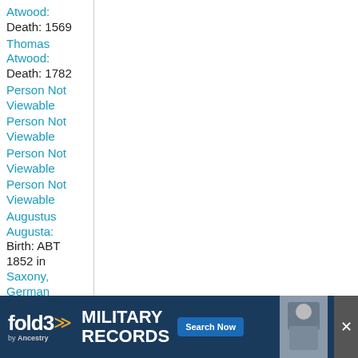Atwood: Death: 1569
Thomas Atwood: Death: 1782
Person Not Viewable
Person Not Viewable
Person Not Viewable
Person Not Viewable
Augustus Augusta: Birth: ABT 1852 in Saxony, Germany